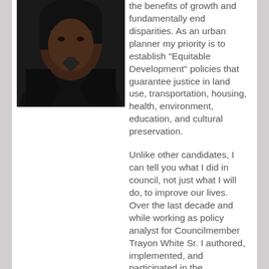[Figure (photo): Portrait photograph of a person wearing a dark jacket and necklace, photographed against a neutral background.]
the benefits of growth and fundamentally end disparities. As an urban planner my priority is to establish “Equitable Development” policies that guarantee justice in land use, transportation, housing, health, environment, education, and cultural preservation.

Unlike other candidates, I can tell you what I did in council, not just what I will do, to improve our lives. Over the last decade and while working as policy analyst for Councilmember Trayon White Sr. I authored, implemented, and participated in the